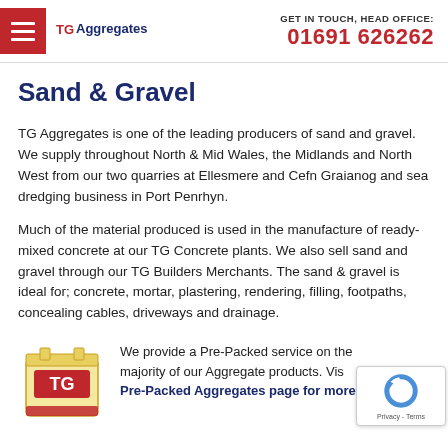TG Aggregates | GET IN TOUCH, HEAD OFFICE: 01691 626262
Sand & Gravel
TG Aggregates is one of the leading producers of sand and gravel. We supply throughout North & Mid Wales, the Midlands and North West from our two quarries at Ellesmere and Cefn Graianog and sea dredging business in Port Penrhyn.
Much of the material produced is used in the manufacture of ready-mixed concrete at our TG Concrete plants. We also sell sand and gravel through our TG Builders Merchants. The sand & gravel is ideal for; concrete, mortar, plastering, rendering, filling, footpaths, concealing cables, driveways and drainage.
We provide a Pre-Packed service on the majority of our Aggregate products. Vis... Pre-Packed Aggregates page for more